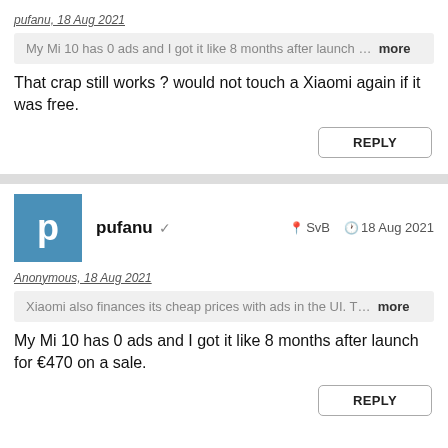pufanu, 18 Aug 2021
My Mi 10 has 0 ads and I got it like 8 months after launch ... more
That crap still works ? would not touch a Xiaomi again if it was free.
REPLY
pufanu ✓   SvB   18 Aug 2021
Anonymous, 18 Aug 2021
Xiaomi also finances its cheap prices with ads in the UI. T... more
My Mi 10 has 0 ads and I got it like 8 months after launch for €470 on a sale.
REPLY